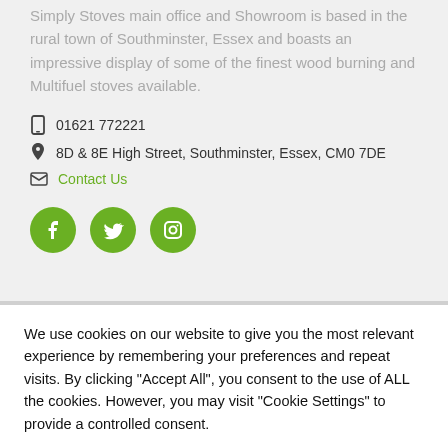Simply Stoves main office and Showroom is based in the rural town of Southminster, Essex and boasts an impressive display of some of the finest wood burning and Multifuel stoves available.
01621 772221
8D & 8E High Street, Southminster, Essex, CM0 7DE
Contact Us
[Figure (illustration): Three green circular social media icons: Facebook, Twitter, Instagram]
We use cookies on our website to give you the most relevant experience by remembering your preferences and repeat visits. By clicking "Accept All", you consent to the use of ALL the cookies. However, you may visit "Cookie Settings" to provide a controlled consent.
Cookie Settings | Accept All